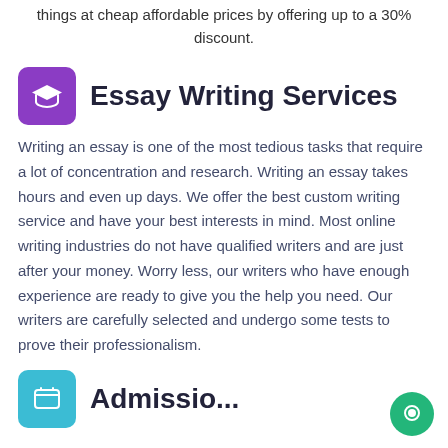things at cheap affordable prices by offering up to a 30% discount.
Essay Writing Services
Writing an essay is one of the most tedious tasks that require a lot of concentration and research. Writing an essay takes hours and even up days. We offer the best custom writing service and have your best interests in mind. Most online writing industries do not have qualified writers and are just after your money. Worry less, our writers who have enough experience are ready to give you the help you need. Our writers are carefully selected and undergo some tests to prove their professionalism.
Admissi...